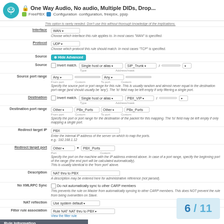One Way Audio, No audio, Multiple DIDs, Drop... FreePBX Configuration configuration, freepbx, pjsip
This option is rarely needed. Don't use this without thorough knowledge of the implications.
Interface: WAN - Choose which interface this rule applies to. In most cases 'WAN' is specified.
Protocol: UDP - Choose which protocol this rule should match. In most cases 'TCP' is specified.
Source: Hide Advanced button
Source: Invert match. Type: Single host or alias. Address/mask: SIP_Trunk /
Source port range: Any From port | Custom | Any To port | Custom
Specify the source port or port range for this rule. This is usually random and almost never equal to the destination port range (and should usually be 'any'). The 'to' field may be left empty if only filtering a single port.
Destination: Invert match. Type: Single host or alias. Address/mask: PBX_VIP /
Destination port range: Other From port: PBx_Ports Custom | Other To port: PBx_Ports Custom
Specify the port or port range for the destination of the packet for this mapping. The 'to' field may be left empty if only mapping a single port.
Redirect target IP: PBX - Enter the internal IP address of the server on which to map the ports. e.g.: 192.168.1.12
Redirect target port: Other Port | PBX_Ports Custom
Specify the port on the machine with the IP address entered above. In case of a port range, specify the beginning port of the range (the end port will be calculated automatically). This is usually identical to the 'from port' above.
Description: NAT thru to PBX - A description may be entered here for administrative reference (not parsed).
No XMLRPC Sync: Do not automatically sync to other CARP members. This prevents the rule on Master from automatically syncing to other CARP members. This does NOT prevent the rule from being overwritten on Slave.
NAT reflection: Use system default
Filter rule association: Rule NAT NAT thru to PBX - View the filter rule
Rule Information
6 / 11